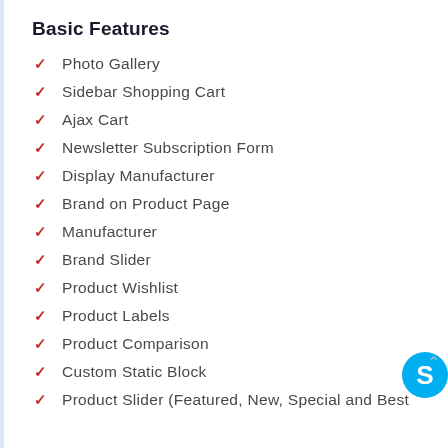Basic Features
Photo Gallery
Sidebar Shopping Cart
Ajax Cart
Newsletter Subscription Form
Display Manufacturer
Brand on Product Page
Manufacturer
Brand Slider
Product Wishlist
Product Labels
Product Comparison
Custom Static Block
Product Slider (Featured, New, Special and Best